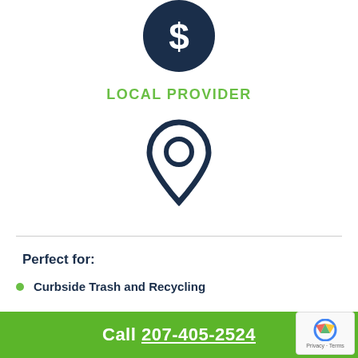[Figure (illustration): Dark navy blue circle with a white dollar sign icon in the center]
LOCAL PROVIDER
[Figure (illustration): Dark navy blue map location pin / drop icon outline]
Perfect for:
Curbside Trash and Recycling
Commercial Trash and Recycling
Call 207-405-2524